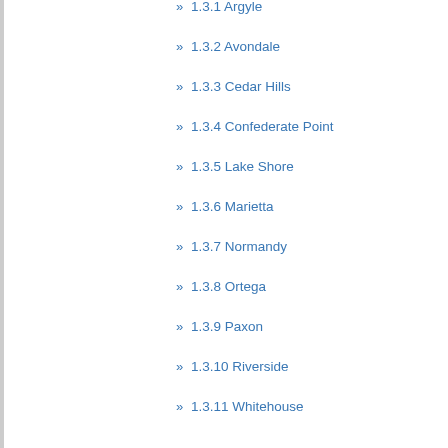» 1.3.1 Argyle
» 1.3.2 Avondale
» 1.3.3 Cedar Hills
» 1.3.4 Confederate Point
» 1.3.5 Lake Shore
» 1.3.6 Marietta
» 1.3.7 Normandy
» 1.3.8 Ortega
» 1.3.9 Paxon
» 1.3.10 Riverside
» 1.3.11 Whitehouse
» 1.4 Northwest Jacksonville
» 1.4.1 Panama Park
» 1.4.2 North Shore
» 1.5 Urban core
» 1.5.1 LaVilla
» 1.5.2 Southside
» 1.5.3 Springfield
» 2 References